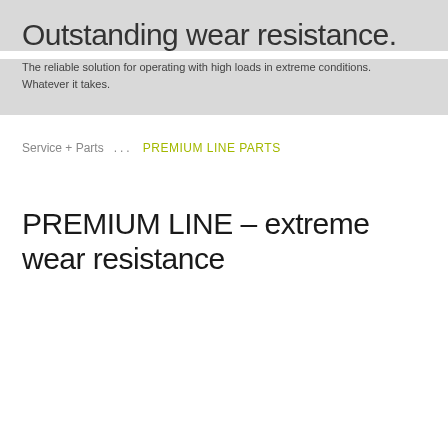Outstanding wear resistance.
The reliable solution for operating with high loads in extreme conditions. Whatever it takes.
Service + Parts ... PREMIUM LINE parts
PREMIUM LINE – extreme wear resistance